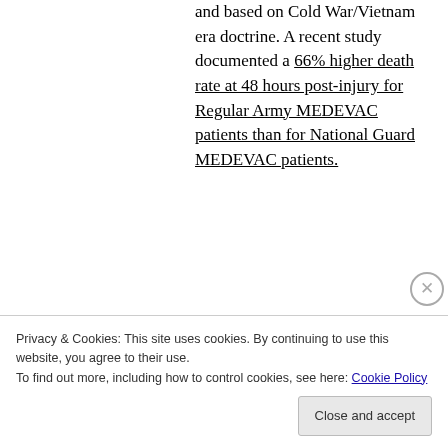and based on Cold War/Vietnam era doctrine. A recent study documented a 66% higher death rate at 48 hours post-injury for Regular Army MEDEVAC patients than for National Guard MEDEVAC patients.
Lack of standardization across units performing rotary wing evacuations
Privacy & Cookies: This site uses cookies. By continuing to use this website, you agree to their use. To find out more, including how to control cookies, see here: Cookie Policy